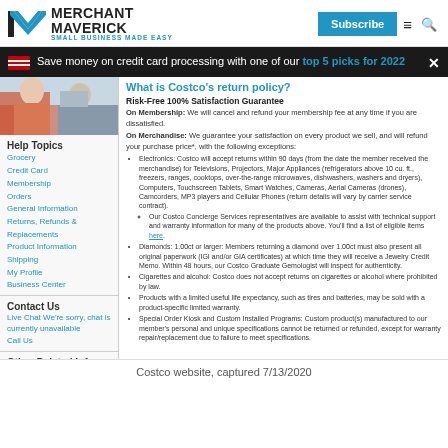[Figure (logo): Merchant Maverick logo with stylized M icon and tagline 'Small Business Made Easy']
Subscribe
Save money on credit card processing with one of our top 5 picks for 2022
[Figure (photo): Photo of people, partial view, related to retail/business context]
Help Topics
Grocery
Credit Card
Membership
Orders
General Information
Returns, Refunds & Replacements
Product Information
Shipping
My Profile
Business Center
Contact Us
Live Chat We're sorry, chat is currently unavailable
Call Us
Other Related Info
Concierge Technical Support
Hours and Closures
How to Shop Costco.com
Preventing Fraud
What is Costco's return policy?
Risk-Free 100% Satisfaction Guarantee
On Membership: We will cancel and refund your membership fee at any time if you are dissatisfied.
On Merchandise: We guarantee your satisfaction on every product we sell, and will refund your purchase price*, with the following exceptions:
Electronics: Costco will accept returns within 90 days (from the date the member received the merchandise) for Televisions, Projectors, Major Appliances (refrigerators above 10 cu. ft., freezers, ranges, cooktops, over-the-range microwaves, dishwashers, washers and dryers), Computers, Touchscreen Tablets, Smart Watches, Cameras, Aerial Cameras (drones), Camcorders, MP3 players and Cellular Phones (return details will vary by carrier service contract).
Our Costco Concierge Services representatives are available to assist with technical support and warranty information for many of the products above. You'll find a list of eligible items here.
Diamonds: 1.00ct or larger: Members returning a diamond over 1.00ct must also present all original paperwork (IGI and/or GIA certificates) at which time they will receive a Jewelry Credit Memo. Within 48 hours, our Costco Graduate Gemologist will inspect for authenticity.
Cigarettes and alcohol: Costco does not accept returns on cigarettes or alcohol where prohibited by law.
Products with a limited useful life expectancy, such as tires and batteries, may be sold with a product-specific limited warranty.
Special Order Kiosk and Custom Installed Programs: Custom product(s) manufactured to our member's personal and unique specifications cannot be returned or refunded, except for warranty repair/replacement due to failure to meet specifications.
Costco website, captured 7/13/2020